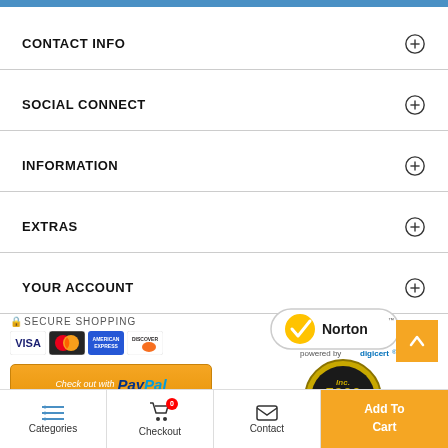CONTACT INFO
SOCIAL CONNECT
INFORMATION
EXTRAS
YOUR ACCOUNT
[Figure (logo): Secure Shopping with VISA, MasterCard, American Express, Discover card logos]
[Figure (logo): Norton secured powered by Digicert badge]
[Figure (logo): Check out with PayPal button]
[Figure (logo): Inc. 5000 Honor Roll Five-Time Honoree badge]
[Figure (other): Scroll to top orange button with upward arrow]
Categories | Checkout (0) | Contact | Add To Cart